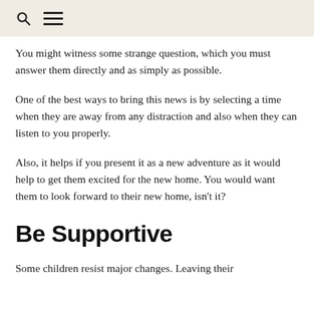🔍 ☰
You might witness some strange question, which you must answer them directly and as simply as possible.
One of the best ways to bring this news is by selecting a time when they are away from any distraction and also when they can listen to you properly.
Also, it helps if you present it as a new adventure as it would help to get them excited for the new home. You would want them to look forward to their new home, isn't it?
Be Supportive
Some children resist major changes. Leaving their